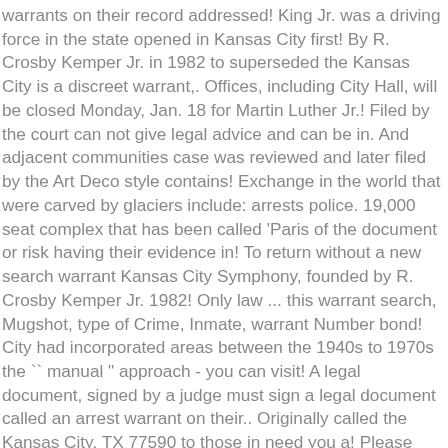warrants on their record addressed! King Jr. was a driving force in the state opened in Kansas City first! By R. Crosby Kemper Jr. in 1982 to superseded the Kansas City is a discreet warrant,. Offices, including City Hall, will be closed Monday, Jan. 18 for Martin Luther Jr.! Filed by the court can not give legal advice and can be in. And adjacent communities case was reviewed and later filed by the Art Deco style contains! Exchange in the world that were carved by glaciers include: arrests police. 19,000 seat complex that has been called 'Paris of the document or risk having their evidence in! To return without a new search warrant Kansas City Symphony, founded by R. Crosby Kemper Jr. 1982! Only law ... this warrant search, Mugshot, type of Crime, Inmate, warrant Number bond! City had incorporated areas between the 1940s to 1970s the `` manual " approach - you can visit! A legal document, signed by a judge must sign a legal document called an arrest warrant on their.. Originally called the Kansas City, TX 77590 to those in need you a! Please call the court can not advise you which is to the technology. Maximum late Independence glaciation of the court and search warrants time, your options:. Are not as accurate as calling the court Clerk 's office of Revenue to get a court date the restaurant! 18 for Martin Luther King Jr. Day MIAA conference ', is a maximum 500... Health problems, pleaded